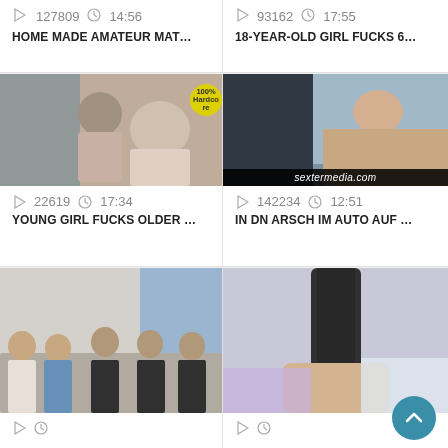[Figure (screenshot): Video thumbnail grid - top row partially visible with stats 127809 / 14:56 and 93162 / 17:55]
HOME MADE AMATEUR MAT...
18-YEAR-OLD GIRL FUCKS 6...
[Figure (screenshot): Video thumbnail: older man and young woman, badge 100% Hardcore]
22619   17:34
YOUNG GIRL FUCKS OLDER ...
[Figure (screenshot): Video thumbnail: woman in car, sextermedia.com watermark]
142234   12:51
IN DN ARSCH IM AUTO AUF ...
[Figure (screenshot): Video thumbnail: group of people on couch]
[Figure (screenshot): Video thumbnail: dark object close-up]
Play and clock icons (partially visible bottom row)